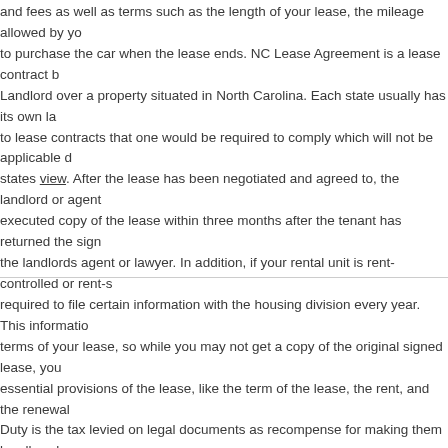and fees as well as terms such as the length of your lease, the mileage allowed by you to purchase the car when the lease ends. NC Lease Agreement is a lease contract b Landlord over a property situated in North Carolina. Each state usually has its own la to lease contracts that one would be required to comply which will not be applicable d states view. After the lease has been negotiated and agreed to, the landlord or agent executed copy of the lease within three months after the tenant has returned the sign the landlords agent or lawyer. In addition, if your rental unit is rent-controlled or rent-s required to file certain information with the housing division every year. This informatio terms of your lease, so while you may not get a copy of the original signed lease, you essential provisions of the lease, like the term of the lease, the rent, and the renewal Duty is the tax levied on legal documents as recompense for making them legally val Karnataka, maximum Stamp Duty that can be levied on any rental agreement is INR typically calculated as follows- That is why it is highly important that rent agreement s necessary details about the transaction and not miss out on any element. Here is a c subjects a rent agreement must cover: For example, if you enter into a leave and lice